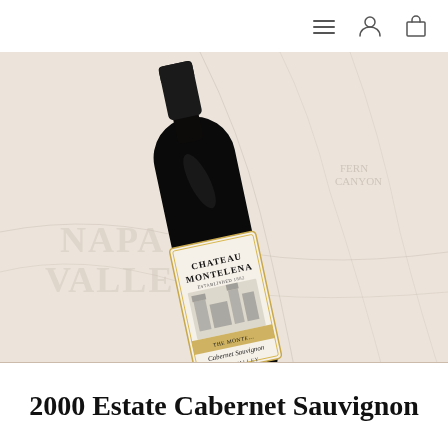Navigation icons: menu, user account, shopping bag
[Figure (photo): A bottle of Chateau Montelena Cabernet Sauvignon Napa Valley 2000 wine, tilted at an angle, displayed against a light beige topographic map background showing Napa Valley. The bottle label reads: CHATEAU MONTELENA, THE MONTELENA, Cabernet Sauvignon, NAPA VALLEY, 2000.]
2000 Estate Cabernet Sauvignon